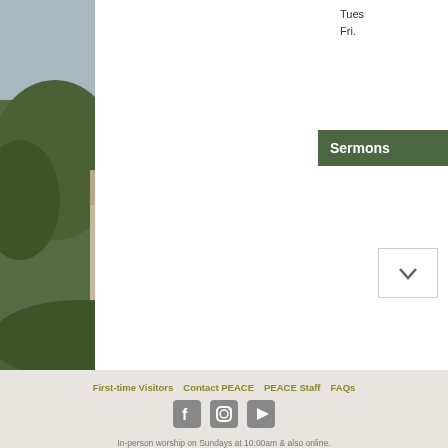Tues
Fri.
Sermons
First-time Visitors | Contact PEACE | PEACE Staff | FAQs
In-person worship on Sundays at 10:00am & also online.
Office Hours: 8:30 am to 1:30 pm Tue-Fri.
828 W. Main Street, Grass Valley, California 95945
(530) 273-9631
Copyright © 2022 Peace Lutheran Church.